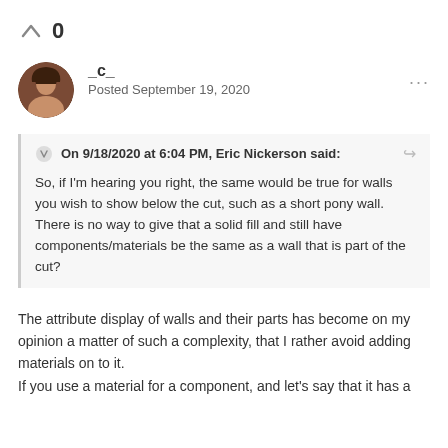0
_c_
Posted September 19, 2020
On 9/18/2020 at 6:04 PM, Eric Nickerson said:
So, if I'm hearing you right, the same would be true for walls you wish to show below the cut, such as a short pony wall. There is no way to give that a solid fill and still have components/materials be the same as a wall that is part of the cut?
The attribute display of walls and their parts has become on my opinion a matter of such a complexity, that I rather avoid adding materials on to it.
If you use a material for a component, and let's say that it has a